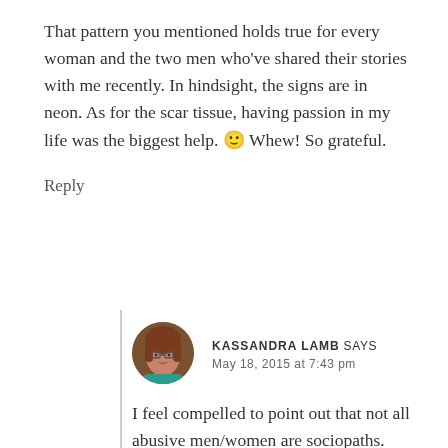That pattern you mentioned holds true for every woman and the two men who've shared their stories with me recently. In hindsight, the signs are in neon. As for the scar tissue, having passion in my life was the biggest help. 🙂 Whew! So grateful.
Reply
[Figure (photo): Round avatar photo of Kassandra Lamb, a woman with reddish-brown hair and glasses wearing a teal top]
KASSANDRA LAMB SAYS
MAY 18, 2015 AT 7:43 PM
I feel compelled to point out that not all abusive men/women are sociopaths.